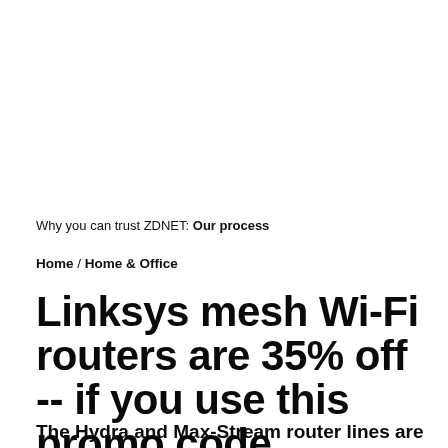Why you can trust ZDNET: Our process
Home / Home & Office
Linksys mesh Wi-Fi routers are 35% off -- if you use this promo code
The Hydra and Max-Stream router lines are